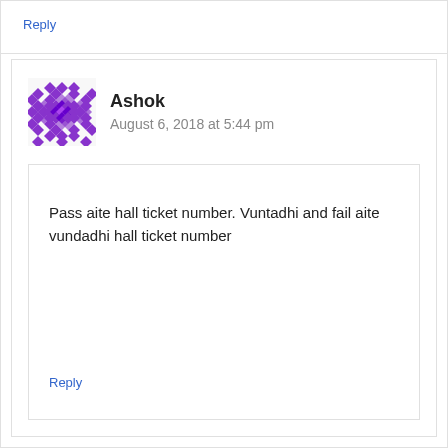Reply
Ashok
August 6, 2018 at 5:44 pm
Pass aite hall ticket number. Vuntadhi and fail aite vundadhi hall ticket number
Reply